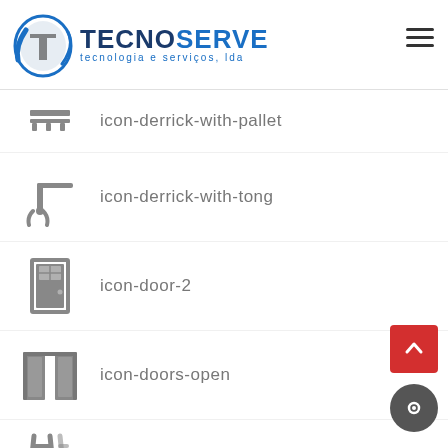[Figure (logo): TecnoServe logo with circular icon and text 'TECNOSERVE tecnologia e serviços, lda']
icon-derrick-with-pallet
icon-derrick-with-tong
icon-door-2
icon-doors-open
icon-double-ladder